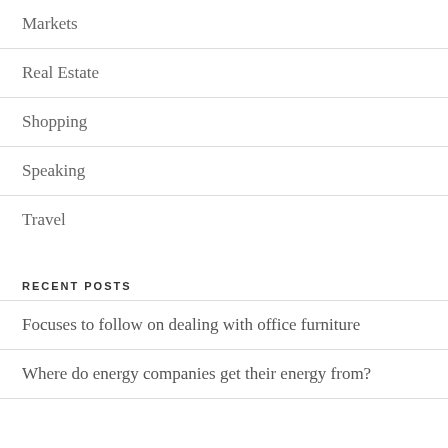Markets
Real Estate
Shopping
Speaking
Travel
RECENT POSTS
Focuses to follow on dealing with office furniture
Where do energy companies get their energy from?